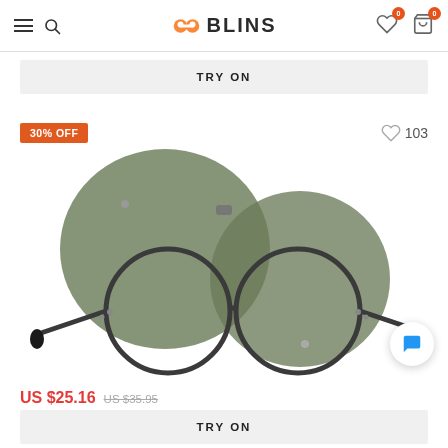BLINS — navigation header with hamburger menu, search, logo, wishlist (0), cart (0)
TRY ON
[Figure (photo): Round eyeglasses with clip-on green tinted magnetic sunglasses flipped up, dark metal frame, product photo on white background]
30% OFF
103
US $25.16  US $35.95
TRY ON